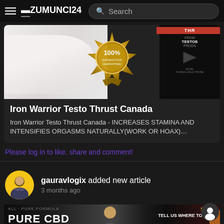ZUMUNCI24  Search
[Figure (photo): Article thumbnail image showing a person, a 100% Satisfaction Guaranteed gold badge, and a product bottle on the right side]
Iron Warrior Testo Thrust Canada
Iron Warrior Testo Thrust Canada - INCREASES STAMINA AND INTENSIFIES ORGASMS NATURALLY(WORK OR HOAX)…
Please log in to like, share and comment!
gauravlogix added new article
3 months ago
[Figure (photo): Bottom article thumbnail strip showing PURE CBD text on the left, a person in the center, and STEP 1 TELL US WHERE TO SEND text on the right]